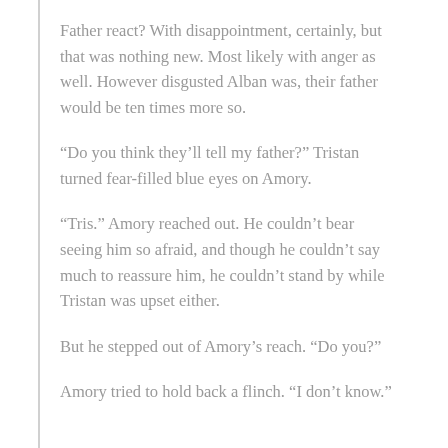Father react? With disappointment, certainly, but that was nothing new. Most likely with anger as well. However disgusted Alban was, their father would be ten times more so.
“Do you think they’ll tell my father?” Tristan turned fear-filled blue eyes on Amory.
“Tris.” Amory reached out. He couldn’t bear seeing him so afraid, and though he couldn’t say much to reassure him, he couldn’t stand by while Tristan was upset either.
But he stepped out of Amory’s reach. “Do you?”
Amory tried to hold back a flinch. “I don’t know.”